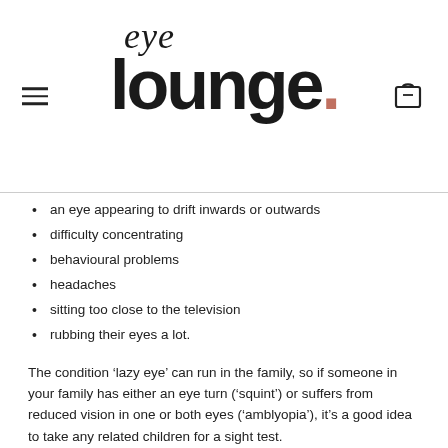eye lounge.
an eye appearing to drift inwards or outwards
difficulty concentrating
behavioural problems
headaches
sitting too close to the television
rubbing their eyes a lot.
The condition ‘lazy eye’ can run in the family, so if someone in your family has either an eye turn (‘squint’) or suffers from reduced vision in one or both eyes (‘amblyopia’), it’s a good idea to take any related children for a sight test.
What is vision screening?
Some children have their vision screened at school – this is